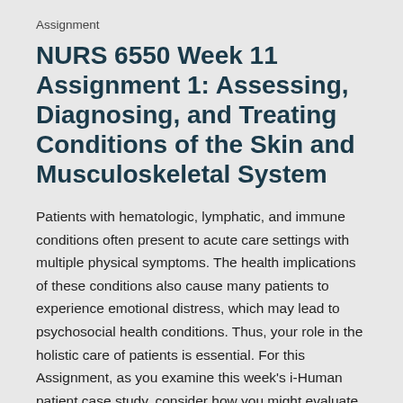Assignment
NURS 6550 Week 11 Assignment 1: Assessing, Diagnosing, and Treating Conditions of the Skin and Musculoskeletal System
Patients with hematologic, lymphatic, and immune conditions often present to acute care settings with multiple physical symptoms. The health implications of these conditions also cause many patients to experience emotional distress, which may lead to psychosocial health conditions. Thus, your role in the holistic care of patients is essential. For this Assignment, as you examine this week's i-Human patient case study, consider how you might evaluate and treat patients who present with hematologic